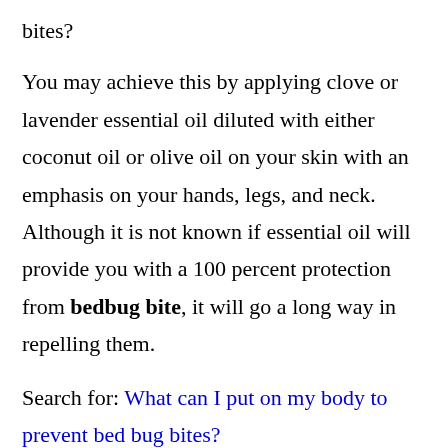bites?
You may achieve this by applying clove or lavender essential oil diluted with either coconut oil or olive oil on your skin with an emphasis on your hands, legs, and neck. Although it is not known if essential oil will provide you with a 100 percent protection from bedbug bite, it will go a long way in repelling them.
Search for: What can I put on my body to prevent bed bug bites?